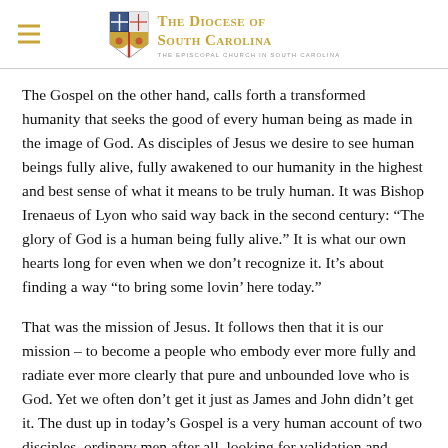The Diocese of South Carolina — The Episcopal Church in South Carolina
The Gospel on the other hand, calls forth a transformed humanity that seeks the good of every human being as made in the image of God. As disciples of Jesus we desire to see human beings fully alive, fully awakened to our humanity in the highest and best sense of what it means to be truly human. It was Bishop Irenaeus of Lyon who said way back in the second century: “The glory of God is a human being fully alive.” It is what our own hearts long for even when we don’t recognize it. It’s about finding a way “to bring some lovin’ here today.”
That was the mission of Jesus. It follows then that it is our mission – to become a people who embody ever more fully and radiate ever more clearly that pure and unbounded love who is God. Yet we often don’t get it just as James and John didn’t get it. The dust up in today’s Gospel is a very human account of two disciples, ordinary men after all, looking for validation and status. They are seeking advantage for themselves. Jesus sees what is